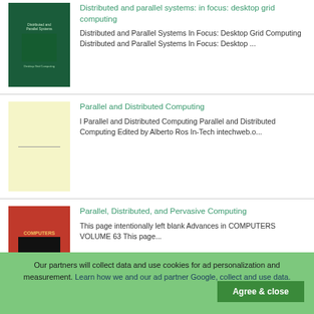[Figure (photo): Book cover: Distributed and Parallel Systems in Focus: Desktop Grid Computing, dark green cover]
Distributed and parallel systems: in focus: desktop grid computing
Distributed and Parallel Systems In Focus: Desktop Grid Computing Distributed and Parallel Systems In Focus: Desktop ...
[Figure (photo): Book cover: Parallel and Distributed Computing, light yellow cover with a horizontal line]
Parallel and Distributed Computing
l Parallel and Distributed Computing Parallel and Distributed Computing Edited by Alberto Ros In-Tech intechweb.o...
[Figure (photo): Book cover: Parallel, Distributed, and Pervasive Computing, red cover with COMPUTERS text]
Parallel, Distributed, and Pervasive Computing
This page intentionally left blank Advances in COMPUTERS VOLUME 63 This page...
Our partners will collect data and use cookies for ad personalization and measurement. Learn how we and our ad partner Google, collect and use data.  Agree & close